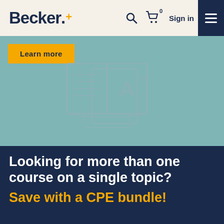Becker+ | Sign in
[Figure (illustration): Book with A+ grade icon illustration on teal/muted green background, with a 'Learn more' yellow button visible at top left]
Looking for more than one course on a single topic?
Save with a CPE bundle!